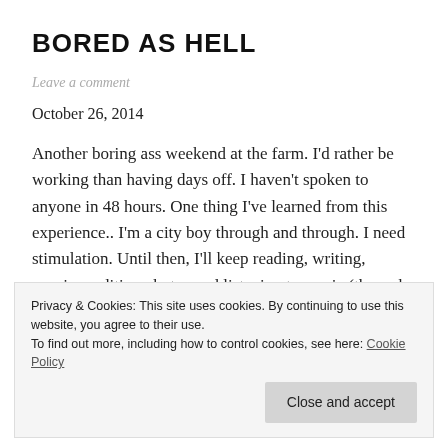BORED AS HELL
Leave a comment
October 26, 2014
Another boring ass weekend at the farm. I’d rather be working than having days off. I haven’t spoken to anyone in 48 hours. One thing I’ve learned from this experience.. I’m a city boy through and through. I need stimulation. Until then, I’ll keep reading, writing, running, editing photos and listening to music (through headphones of course). Things
Privacy & Cookies: This site uses cookies. By continuing to use this website, you agree to their use.
To find out more, including how to control cookies, see here: Cookie Policy
Close and accept